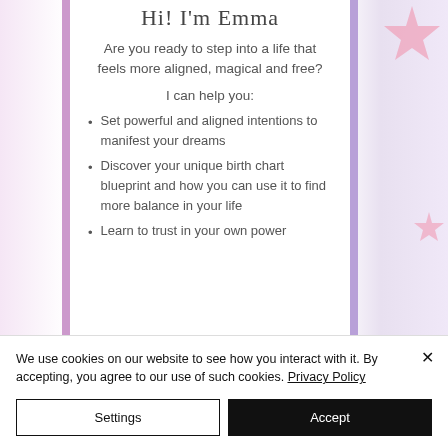Hi! I'm Emma
Are you ready to step into a life that feels more aligned, magical and free?
I can help you:
Set powerful and aligned intentions to manifest your dreams
Discover your unique birth chart blueprint and how you can use it to find more balance in your life
Learn to trust in your own power
We use cookies on our website to see how you interact with it. By accepting, you agree to our use of such cookies. Privacy Policy